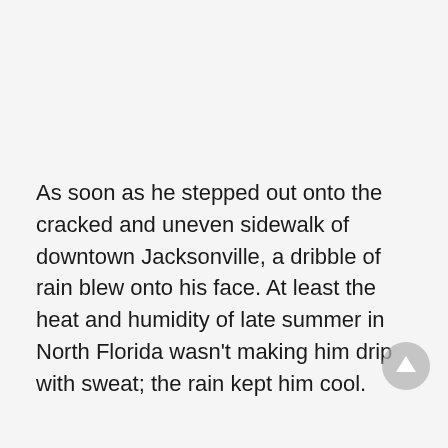As soon as he stepped out onto the cracked and uneven sidewalk of downtown Jacksonville, a dribble of rain blew onto his face. At least the heat and humidity of late summer in North Florida wasn't making him drip with sweat; the rain kept him cool.